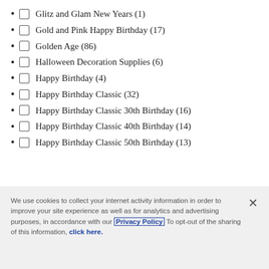Glitz and Glam New Years (1)
Gold and Pink Happy Birthday (17)
Golden Age (86)
Halloween Decoration Supplies (6)
Happy Birthday (4)
Happy Birthday Classic (32)
Happy Birthday Classic 30th Birthday (16)
Happy Birthday Classic 40th Birthday (14)
Happy Birthday Classic 50th Birthday (13)
We use cookies to collect your internet activity information in order to improve your site experience as well as for analytics and advertising purposes, in accordance with our Privacy Policy To opt-out of the sharing of this information, click here.